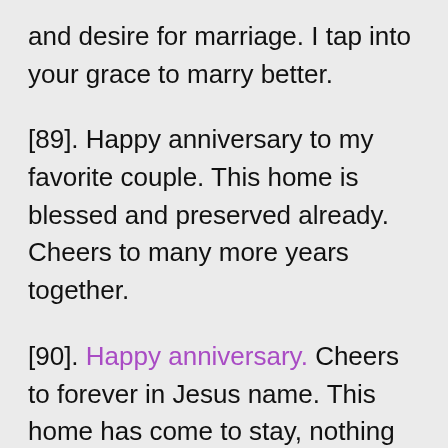and desire for marriage. I tap into your grace to marry better.
[89]. Happy anniversary to my favorite couple. This home is blessed and preserved already. Cheers to many more years together.
[90]. Happy anniversary. Cheers to forever in Jesus name. This home has come to stay, nothing will take it away.
[91]. Happy anniversary to both of you. It's a year already! I wish you guys more happy and